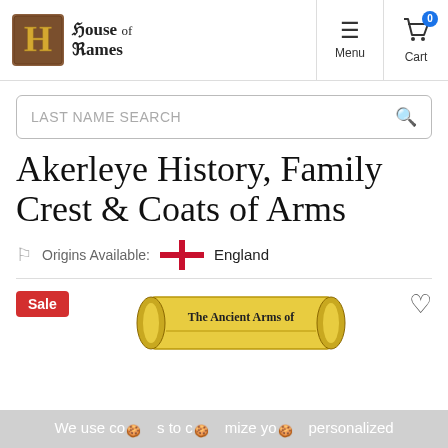House of Names — Menu — Cart (0)
LAST NAME SEARCH
Akerleye History, Family Crest & Coats of Arms
Origins Available: England
[Figure (illustration): The Ancient Arms of scroll banner illustration with decorative medieval scroll graphic]
We use cookies to customize your personalized